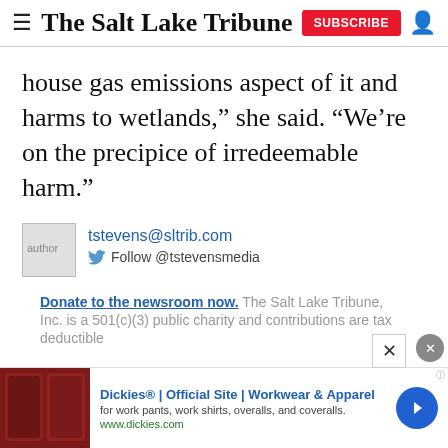The Salt Lake Tribune
house gas emissions aspect of it and harms to wetlands,” she said. “We’re on the precipice of irredeemable harm.”
[Figure (photo): Author photo placeholder]
tstevens@sltrib.com
Follow @tstevensmedia
Donate to the newsroom now. The Salt Lake Tribune, Inc. is a 501(c)(3) public charity and contributions are tax deductible
RELATED STORIES
[Figure (photo): Advertisement banner: Dickies Official Site Workwear & Apparel]